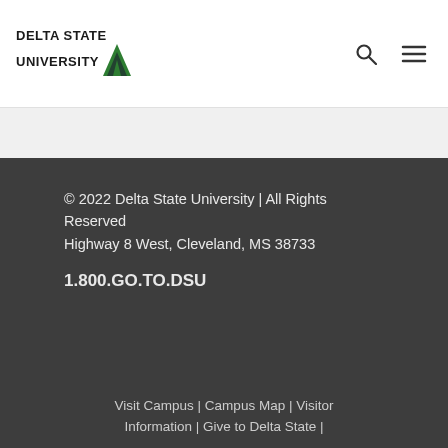DELTA STATE UNIVERSITY
© 2022 Delta State University | All Rights Reserved
Highway 8 West, Cleveland, MS 38733
1.800.GO.TO.DSU
Visit Campus | Campus Map | Visitor Information | Give to Delta State |